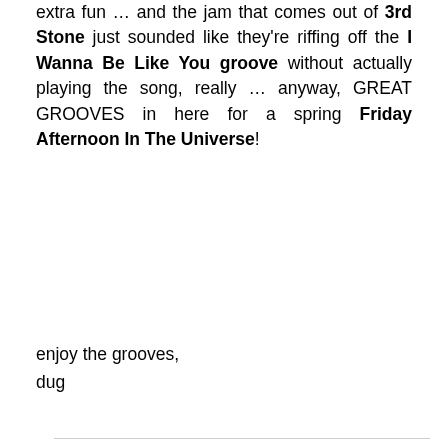extra fun … and the jam that comes out of 3rd Stone just sounded like they're riffing off the I Wanna Be Like You groove without actually playing the song, really … anyway, GREAT GROOVES in here for a spring Friday Afternoon In The Universe!
enjoy the grooves,
dug
BACK TO TOP OF PAGE
[Figure (logo): The Shack logo — a teal/blue figure at a record player with text above and SHACK below]
THE SHACK STREAM